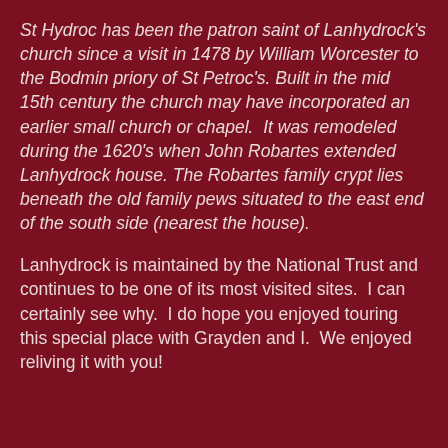St Hydroc has been the patron saint of Lanhydrock's church since a visit in 1478 by William Worcester to the Bodmin priory of St Petroc's. Built in the mid 15th century the church may have incorporated an earlier small church or chapel.  It was remodeled during the 1620's when John Robartes extended Lanhydrock house. The Robartes family crypt lies beneath the old family pews situated to the east end of the south side (nearest the house).
Lanhydrock is maintained by the National Trust and continues to be one of its most visited sites.  I can certainly see why.  I do hope you enjoyed touring this special place with Grayden and I.  We enjoyed reliving it with you!